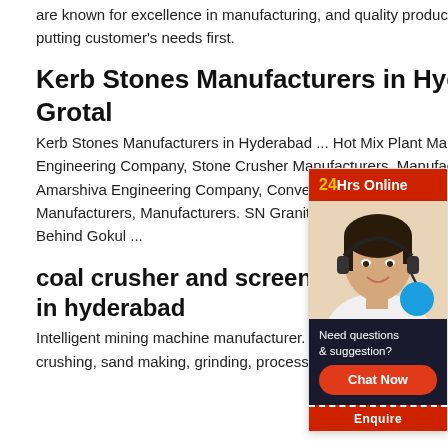are known for excellence in manufacturing, and quality products due to our philosophy of putting customer's needs first.
Kerb Stones Manufacturers in Hyderabad - Grotal
Kerb Stones Manufacturers in Hyderabad ... Hot Mix Plant Manufacturers, Amarshiva Engineering Company, Stone Crusher Manufacturers, Manufacturers, Cement Silo Amarshiva Engineering Company, Conveyor Belt Manufacturers, Crushing Machine Manufacturers, Manufacturers. SN Granite And Metali Industries, Erragadda. 8 3 166/C/3, Behind Gokul ...
coal crusher and screening machine manufacturers in hyderabad
Intelligent mining machine manufacturer. Machinery is an enterprise specializing in various crushing, sand making, grinding, processing and building materials products
[Figure (infographic): Live chat widget overlay showing '24Hrs Online' header in red with yellow text, a photo of a woman with headset, a blue circle badge, dark footer with 'Need questions & suggestion?', a red 'Chat Now' button, and a red 'Enquire' bar at bottom.]